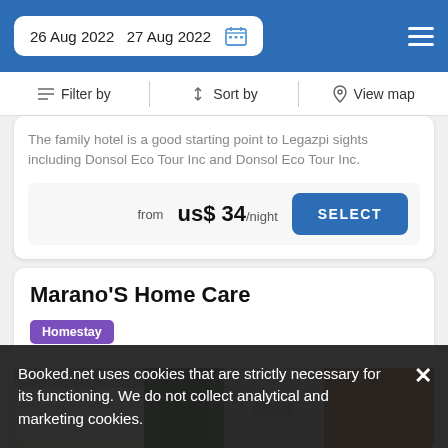26 Aug 2022  27 Aug 2022
Filter by  Sort by  View map
The family hotel is a good starting point to Legazpi sights including Donsol Eco Tour Inc and Donsol Eco Tour Inc.
from us$ 34/night  SELECT
Marano'S Home Care
Homestay
[Figure (photo): Interior photo of a room at Marano'S Home Care homestay]
Booked.net uses cookies that are strictly necessary for its functioning. We do not collect analytical and marketing cookies.